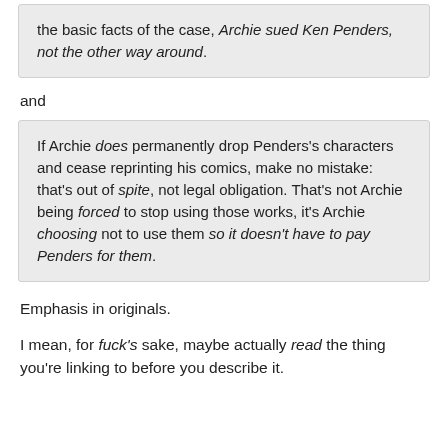the basic facts of the case, Archie sued Ken Penders, not the other way around.
and
If Archie does permanently drop Penders's characters and cease reprinting his comics, make no mistake: that's out of spite, not legal obligation. That's not Archie being forced to stop using those works, it's Archie choosing not to use them so it doesn't have to pay Penders for them.
Emphasis in originals.
I mean, for fuck's sake, maybe actually read the thing you're linking to before you describe it.